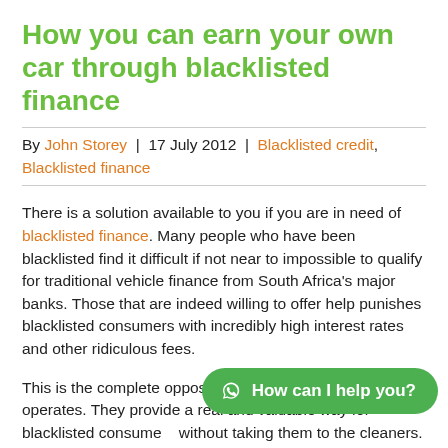How you can earn your own car through blacklisted finance
By John Storey | 17 July 2012 | Blacklisted credit, Blacklisted finance
There is a solution available to you if you are in need of blacklisted finance. Many people who have been blacklisted find it difficult if not near to impossible to qualify for traditional vehicle finance from South Africa's major banks. Those that are indeed willing to offer help punishes blacklisted consumers with incredibly high interest rates and other ridiculous fees.
This is the complete opposite way how Earn-a-Car operates. They provide a real and valuable way for blacklisted consumers without taking them to the cleaners. In fact, they will do everything in their power to get you mobile